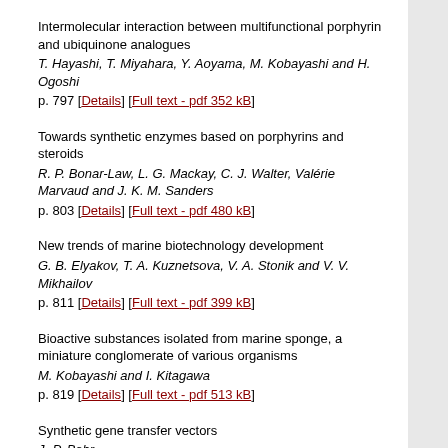Intermolecular interaction between multifunctional porphyrin and ubiquinone analogues
T. Hayashi, T. Miyahara, Y. Aoyama, M. Kobayashi and H. Ogoshi
p. 797 [Details] [Full text - pdf 352 kB]
Towards synthetic enzymes based on porphyrins and steroids
R. P. Bonar-Law, L. G. Mackay, C. J. Walter, Valérie Marvaud and J. K. M. Sanders
p. 803 [Details] [Full text - pdf 480 kB]
New trends of marine biotechnology development
G. B. Elyakov, T. A. Kuznetsova, V. A. Stonik and V. V. Mikhailov
p. 811 [Details] [Full text - pdf 399 kB]
Bioactive substances isolated from marine sponge, a miniature conglomerate of various organisms
M. Kobayashi and I. Kitagawa
p. 819 [Details] [Full text - pdf 513 kB]
Synthetic gene transfer vectors
J.-P. Behr
p. 827 [Details] [Full text - pdf 578 kB]